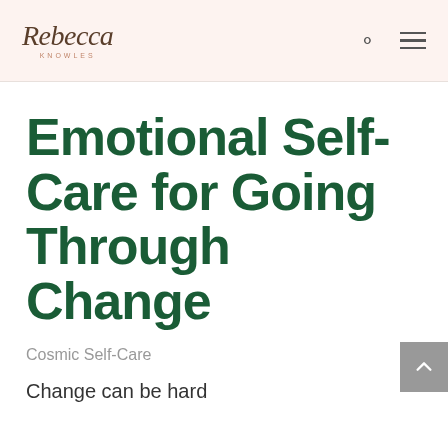Rebecca Knowles — logo header with search and menu icons
Emotional Self-Care for Going Through Change
Cosmic Self-Care
Change can be hard